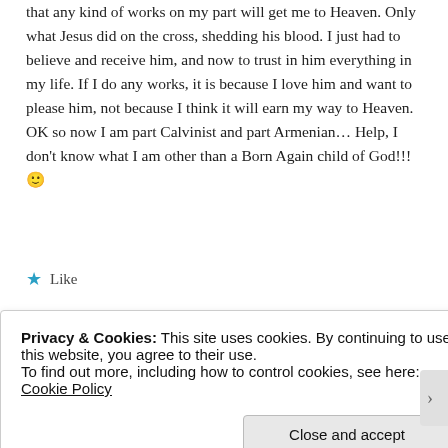that any kind of works on my part will get me to Heaven. Only what Jesus did on the cross, shedding his blood. I just had to believe and receive him, and now to trust in him everything in my life. If I do any works, it is because I love him and want to please him, not because I think it will earn my way to Heaven. OK so now I am part Calvinist and part Armenian… Help, I don't know what I am other than a Born Again child of God!!! 🙂
★ Like
Reply
[Figure (photo): Circular avatar photo of a person, partially visible at bottom of page]
Privacy & Cookies: This site uses cookies. By continuing to use this website, you agree to their use.
To find out more, including how to control cookies, see here: Cookie Policy
Close and accept